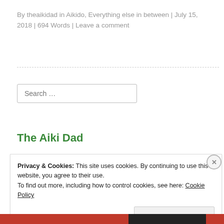By theaikidad in Aikido, Everything else in between | July 15, 2018 | 694 Words | Leave a comment
[Figure (other): Search input field with placeholder text 'Search ...']
The Aiki Dad
Privacy & Cookies: This site uses cookies. By continuing to use this website, you agree to their use.
To find out more, including how to control cookies, see here: Cookie Policy
[Figure (other): Close and accept button for cookie banner, and colored bar at bottom (red, black, red)]